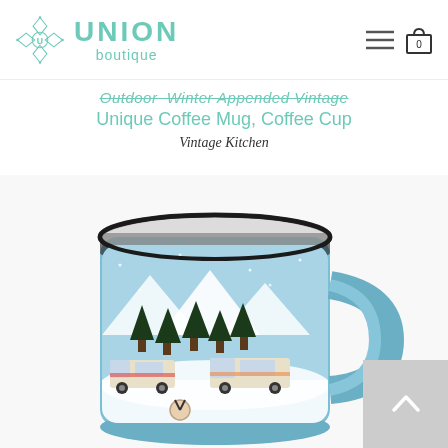[Figure (logo): Union Boutique logo with teal geometric diamond/flower icon and teal text reading UNION boutique]
Unique Coffee Mug, Coffee Cup
Vintage Kitchen
[Figure (photo): Blue enamel camping mug with winter scene featuring RVs, pine trees, mountains, and snow. Dark rim at top, handle on right side.]
[Figure (other): Back to top button (grey square with upward chevron arrow)]